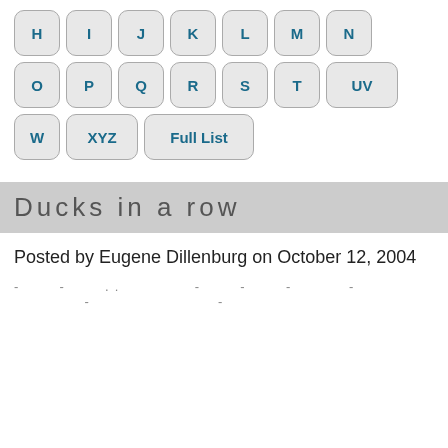[Figure (other): Navigation keyboard-style buttons showing letters H, I, J, K, L, M, N in first row; O, P, Q, R, S, T, UV in second row; W, XYZ, Full List in third row]
Ducks in a row
Posted by Eugene Dillenburg on October 12, 2004
- - .. - - - - - -